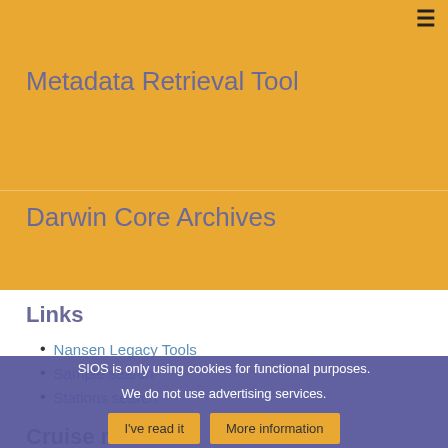≡
Metadata Retrieval Tool
Darwin Core Archives
Links
Nansen Legacy Tools
Sample search
Stations search
Cruise name
2019 Seasonal Study Q3
Gear Type
CTD w/bottles
Sample type
SIOS is only using cookies for functional purposes.
We do not use advertising services.
I've read it
More information